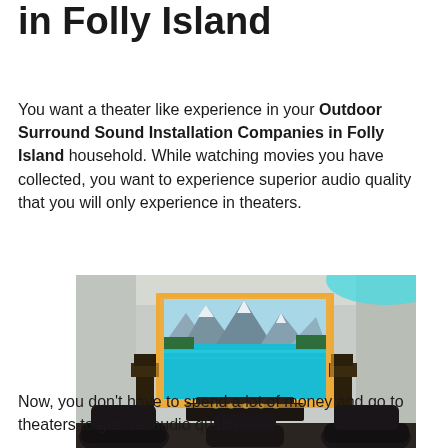in Folly Island
You want a theater like experience in your Outdoor Surround Sound Installation Companies in Folly Island household. While watching movies you have collected, you want to experience superior audio quality that you will only experience in theaters.
[Figure (photo): Home theater room with large wall-mounted screen showing a mountain lake scene, surround sound speakers on either side, and recliner seats in the foreground.]
Now, you don't have to spend a lot of money and go to theaters to get the audio quality